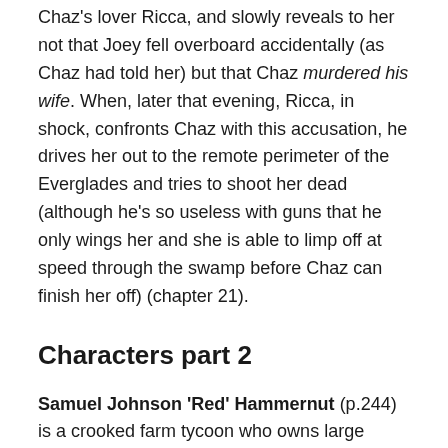Chaz's lover Ricca, and slowly reveals to her not that Joey fell overboard accidentally (as Chaz had told her) but that Chaz murdered his wife. When, later that evening, Ricca, in shock, confronts Chaz with this accusation, he drives her out to the remote perimeter of the Everglades and tries to shoot her dead (although he's so useless with guns that he  only wings her and she is able to limp off at speed through the swamp before Chaz can finish her off) (chapter 21).
Characters part 2
Samuel Johnson 'Red' Hammernut (p.244) is a crooked farm tycoon who owns large vegetable fields in Hendry County, north of the Florida Everglades, which he relentlessly pollutes with fertiliser run-off. He bankrolls